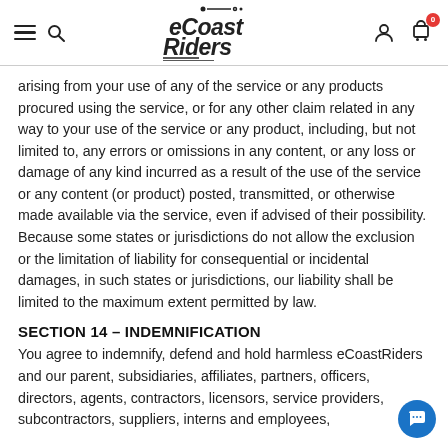eCoastRiders navigation header with hamburger menu, search, logo, account, and cart icons
arising from your use of any of the service or any products procured using the service, or for any other claim related in any way to your use of the service or any product, including, but not limited to, any errors or omissions in any content, or any loss or damage of any kind incurred as a result of the use of the service or any content (or product) posted, transmitted, or otherwise made available via the service, even if advised of their possibility. Because some states or jurisdictions do not allow the exclusion or the limitation of liability for consequential or incidental damages, in such states or jurisdictions, our liability shall be limited to the maximum extent permitted by law.
SECTION 14 – INDEMNIFICATION
You agree to indemnify, defend and hold harmless eCoastRiders and our parent, subsidiaries, affiliates, partners, officers, directors, agents, contractors, licensors, service providers, subcontractors, suppliers, interns and employees,